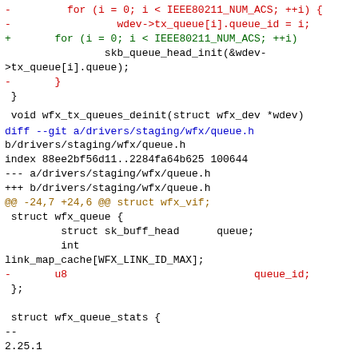- for (i = 0; i < IEEE80211_NUM_ACS; ++i) {
-               wdev->tx_queue[i].queue_id = i;
+       for (i = 0; i < IEEE80211_NUM_ACS; ++i)
                skb_queue_head_init(&wdev->tx_queue[i].queue);
-       }
 }
void wfx_tx_queues_deinit(struct wfx_dev *wdev)
diff --git a/drivers/staging/wfx/queue.h b/drivers/staging/wfx/queue.h
index 88ee2bf56d11..2284fa64b625 100644
--- a/drivers/staging/wfx/queue.h
+++ b/drivers/staging/wfx/queue.h
@@ -24,7 +24,6 @@ struct wfx_vif;
 struct wfx_queue {
         struct sk_buff_head      queue;
         int
link_map_cache[WFX_LINK_ID_MAX];
-       u8                              queue_id;
 };

 struct wfx_queue_stats {
--
2.25.1
^ permalink raw reply   [flat|nested] 40+ messages in thread
* [PATCH 07/20] staging: wfx: remove queue_id ...